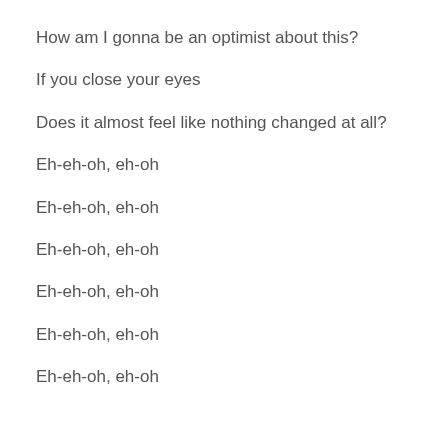How am I gonna be an optimist about this?
If you close your eyes
Does it almost feel like nothing changed at all?
Eh-eh-oh, eh-oh
Eh-eh-oh, eh-oh
Eh-eh-oh, eh-oh
Eh-eh-oh, eh-oh
Eh-eh-oh, eh-oh
Eh-eh-oh, eh-oh